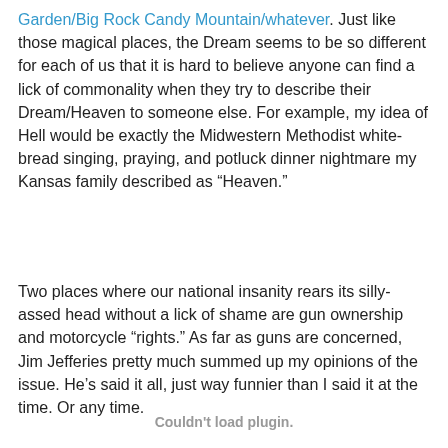Garden/Big Rock Candy Mountain/whatever. Just like those magical places, the Dream seems to be so different for each of us that it is hard to believe anyone can find a lick of commonality when they try to describe their Dream/Heaven to someone else. For example, my idea of Hell would be exactly the Midwestern Methodist white-bread singing, praying, and potluck dinner nightmare my Kansas family described as “Heaven.”
Two places where our national insanity rears its silly-assed head without a lick of shame are gun ownership and motorcycle “rights.” As far as guns are concerned, Jim Jefferies pretty much summed up my opinions of the issue. He’s said it all, just way funnier than I said it at the time. Or any time.
Couldn't load plugin.